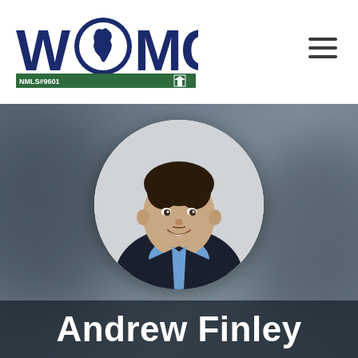[Figure (logo): WOMC - Western Ohio Mortgage Corporation logo with Ohio state silhouette and NMLS#9601 tag]
[Figure (photo): Profile photo of Andrew Finley, a young man in a dark suit, blue shirt and striped tie, smiling, in a circular frame against a blurred dark background]
Andrew Finley